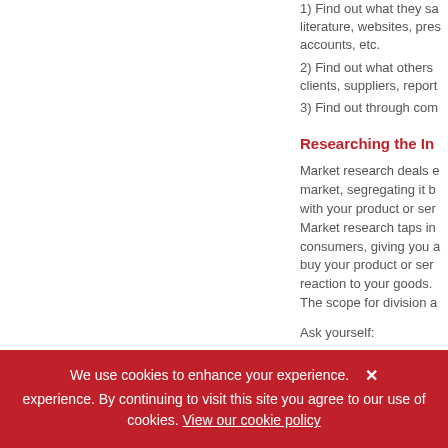1) Find out what they sa literature, websites, pres accounts, etc.
2) Find out what others clients, suppliers, report
3) Find out through com
Researching the In
Market research deals e market, segregating it b with your product or ser Market research taps in consumers, giving you a buy your product or ser reaction to your goods. The scope for division a
Ask yourself:
We use cookies to enhance your experience. By continuing to visit this site you agree to our use of cookies. View our cookie policy